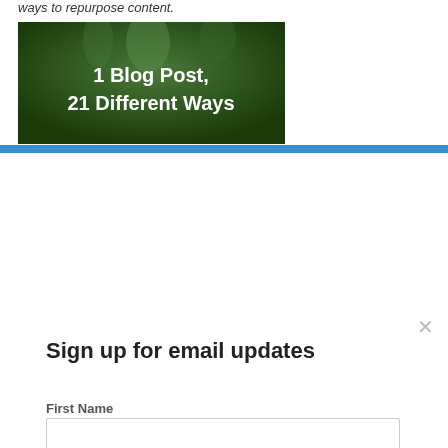ways to repurpose content.
[Figure (photo): Dark green blurred background image with white text reading '1 Blog Post, 21 Different Ways']
Sign up for email updates
First Name
Last Name
Email